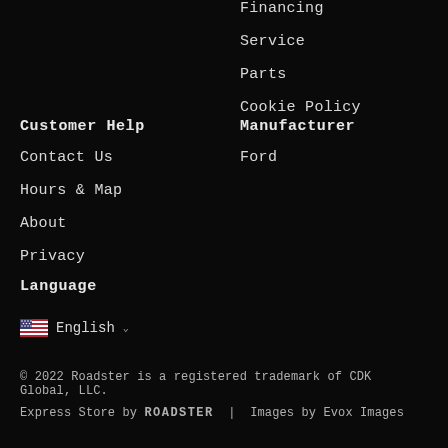Financing
Service
Parts
Cookie Policy
Customer Help
Contact Us
Hours & Map
About
Privacy
Manufacturer
Ford
Language
English
© 2022 Roadster is a registered trademark of CDK Global, LLC. Express Store by ROADSTER | Images by Evox Images